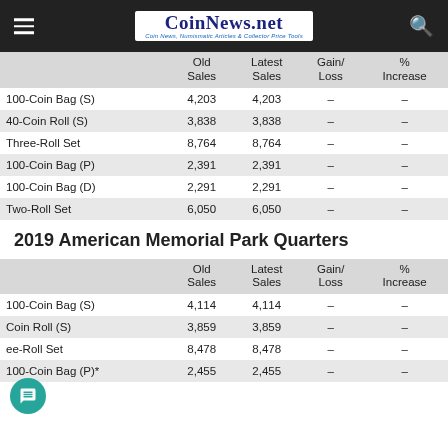CoinNews.net — Coin News, Numismatic Articles & Collector Price Tools
|  | Old Sales | Latest Sales | Gain/Loss | % Increase |
| --- | --- | --- | --- | --- |
| 100-Coin Bag (S) | 4,203 | 4,203 | – | – |
| 40-Coin Roll (S) | 3,838 | 3,838 | – | – |
| Three-Roll Set | 8,764 | 8,764 | – | – |
| 100-Coin Bag (P) | 2,391 | 2,391 | – | – |
| 100-Coin Bag (D) | 2,291 | 2,291 | – | – |
| Two-Roll Set | 6,050 | 6,050 | – | – |
2019 American Memorial Park Quarters
|  | Old Sales | Latest Sales | Gain/Loss | % Increase |
| --- | --- | --- | --- | --- |
| 100-Coin Bag (S) | 4,114 | 4,114 | – | – |
| 40-Coin Roll (S) | 3,859 | 3,859 | – | – |
| Three-Roll Set | 8,478 | 8,478 | – | – |
| 100-Coin Bag (P)* | 2,455 | 2,455 | – | – |